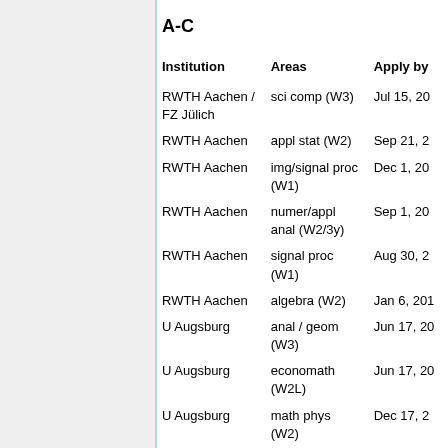A-C
| Institution | Areas | Apply by |
| --- | --- | --- |
| RWTH Aachen / FZ Jülich | sci comp (W3) | Jul 15, 20 |
| RWTH Aachen | appl stat (W2) | Sep 21, 2 |
| RWTH Aachen | img/signal proc (W1) | Dec 1, 20 |
| RWTH Aachen | numer/appl anal (W2/3y) | Sep 1, 20 |
| RWTH Aachen | signal proc (W1) | Aug 30, 2 |
| RWTH Aachen | algebra (W2) | Jan 6, 201 |
| U Augsburg | anal / geom (W3) | Jun 17, 20 |
| U Augsburg | economath (W2L) | Jun 17, 20 |
| U Augsburg | math phys (W2) | Dec 17, 2 |